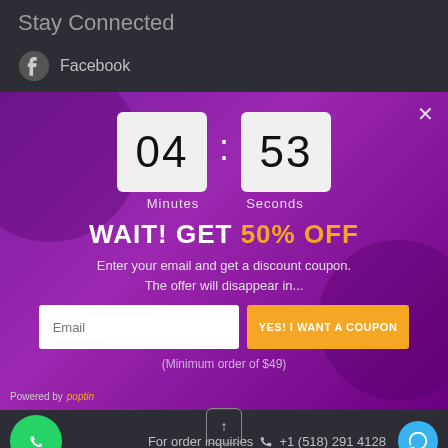Stay Connected
Facebook
[Figure (screenshot): Popup modal with purple background showing countdown timer 04:53 (Minutes:Seconds), 'WAIT! GET 50% OFF' heading, email input field, 'YES! I WANT A COUPON' button, minimum order text, and Powered by poptin branding]
For order inquiries  +1 (518) 291 4128